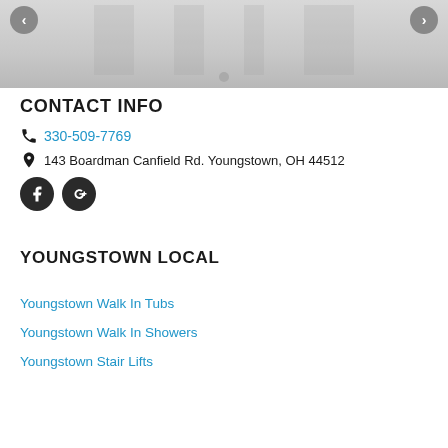[Figure (screenshot): Image slider/carousel with left and right navigation arrows and a dot indicator at the bottom. Gray placeholder image background.]
CONTACT INFO
330-509-7769
143 Boardman Canfield Rd. Youngstown, OH 44512
[Figure (other): Social media icons: Facebook and Google+ circular dark buttons]
YOUNGSTOWN LOCAL
Youngstown Walk In Tubs
Youngstown Walk In Showers
Youngstown Stair Lifts